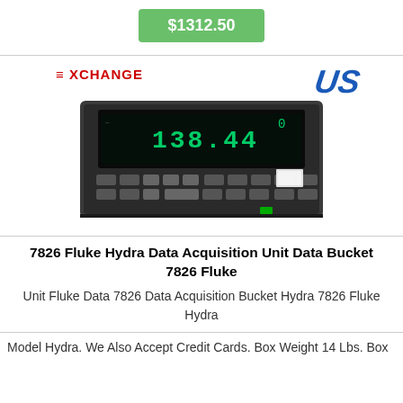$1312.50
[Figure (photo): Photo of a Fluke Hydra Data Acquisition Unit (model 7826) showing the front panel with a digital display reading 138.44, buttons, and the EXCHANGE and US logos visible in the background.]
7826 Fluke Hydra Data Acquisition Unit Data Bucket 7826 Fluke
Unit Fluke Data 7826 Data Acquisition Bucket Hydra 7826 Fluke Hydra
Model Hydra. We Also Accept Credit Cards. Box Weight 14 Lbs. Box